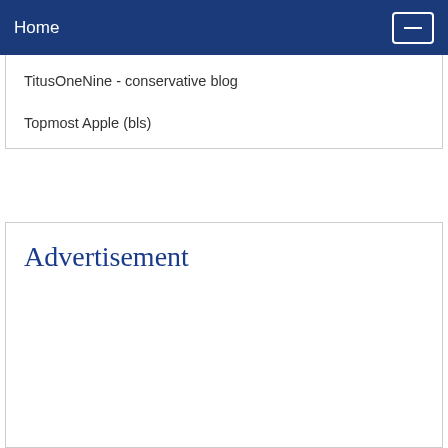Home
TitusOneNine - conservative blog
Topmost Apple (bls)
Advertisement